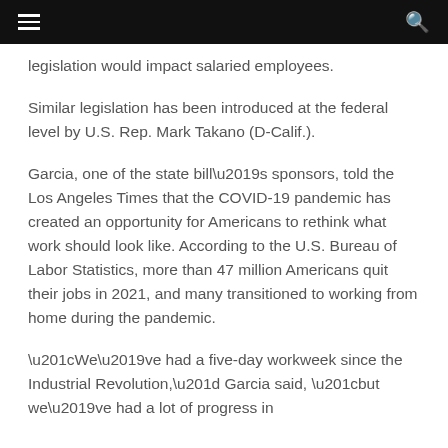navigation bar with menu and search icons
legislation would impact salaried employees.
Similar legislation has been introduced at the federal level by U.S. Rep. Mark Takano (D-Calif.).
Garcia, one of the state bill’s sponsors, told the Los Angeles Times that the COVID-19 pandemic has created an opportunity for Americans to rethink what work should look like. According to the U.S. Bureau of Labor Statistics, more than 47 million Americans quit their jobs in 2021, and many transitioned to working from home during the pandemic.
“We’ve had a five-day workweek since the Industrial Revolution,” Garcia said, “but we’ve had a lot of progress in